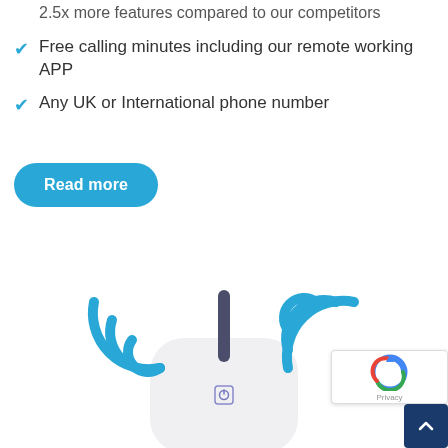2.5x more features compared to our competitors
Free calling minutes including our remote working APP
Any UK or International phone number
Read more
[Figure (illustration): Illustration of a WiFi/VoIP router device with an antenna in the center and blue WiFi signal arcs on both sides, with a power button icon on the front face. Below the device is a reCAPTCHA widget and a dark blue scroll-to-top button.]